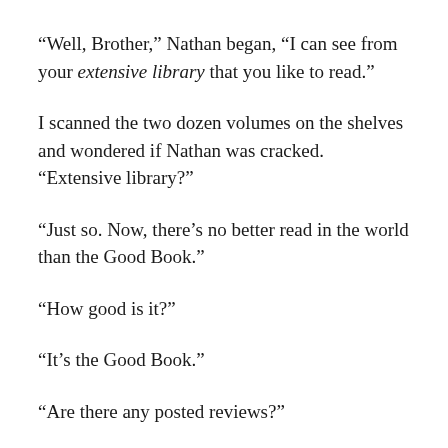“Well, Brother,” Nathan began, “I can see from your extensive library that you like to read.”
I scanned the two dozen volumes on the shelves and wondered if Nathan was cracked. “Extensive library?”
“Just so. Now, there’s no better read in the world than the Good Book.”
“How good is it?”
“It’s the Good Book.”
“Are there any posted reviews?”